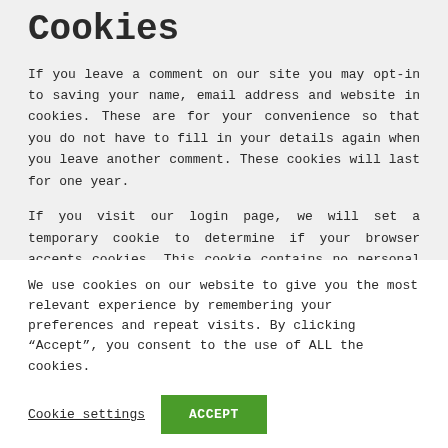Cookies
If you leave a comment on our site you may opt-in to saving your name, email address and website in cookies. These are for your convenience so that you do not have to fill in your details again when you leave another comment. These cookies will last for one year.
If you visit our login page, we will set a temporary cookie to determine if your browser accepts cookies. This cookie contains no personal data and is discarded when you close your browser.
We use cookies on our website to give you the most relevant experience by remembering your preferences and repeat visits. By clicking “Accept”, you consent to the use of ALL the cookies.
Cookie settings   ACCEPT